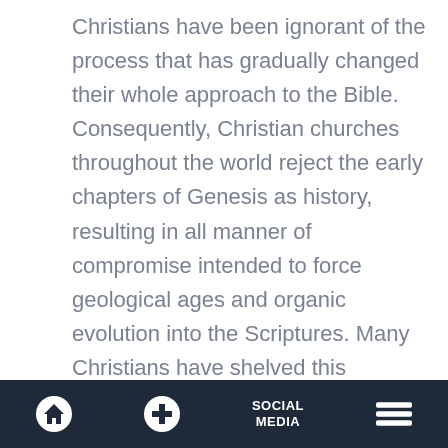Christians have been ignorant of the process that has gradually changed their whole approach to the Bible. Consequently, Christian churches throughout the world reject the early chapters of Genesis as history, resulting in all manner of compromise intended to force geological ages and organic evolution into the Scriptures. Many Christians have shelved this apparent conflict as being divisive, too difficult to resolve, or irrelevant to the Christian faith.
Home | + | SOCIAL MEDIA | Menu